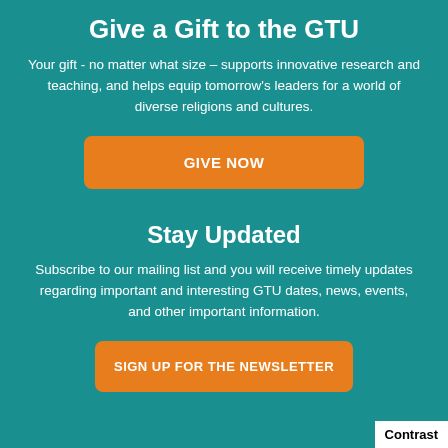Give a Gift to the GTU
Your gift - no matter what size – supports innovative research and teaching, and helps equip tomorrow's leaders for a world of diverse religions and cultures.
GIVE NOW
Stay Updated
Subscribe to our mailing list and you will receive timely updates regarding important and interesting GTU dates, news, events, and other important information.
SIGN UP FOR THE NEWSLETTER
Contrast